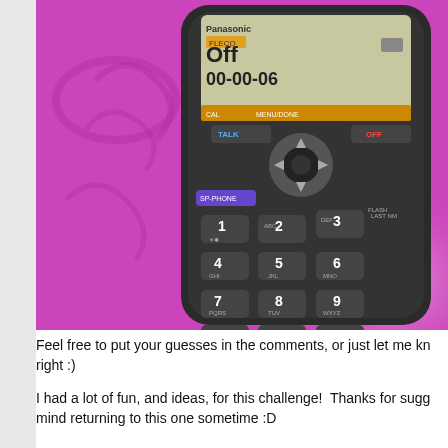[Figure (photo): A Panasonic cordless phone with black keypad showing numbers 0-9, *, #, TALK, OFF buttons and a screen displaying 'Off' and '00-00-06', lying on a purple/pink surface with decorative swirl pattern.]
Feel free to put your guesses in the comments, or just let me know if I got it right :)
I had a lot of fun, and ideas, for this challenge!  Thanks for suggesting it, I don't mind returning to this one sometime :D